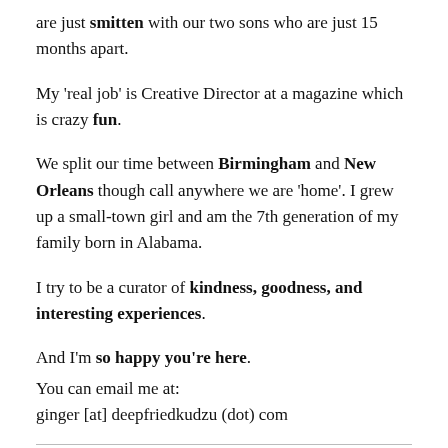are just smitten with our two sons who are just 15 months apart.
My 'real job' is Creative Director at a magazine which is crazy fun.
We split our time between Birmingham and New Orleans though call anywhere we are 'home'. I grew up a small-town girl and am the 7th generation of my family born in Alabama.
I try to be a curator of kindness, goodness, and interesting experiences.
And I'm so happy you're here.
You can email me at:
ginger [at] deepfriedkudzu (dot) com
Copyright © 2004 – 2022. All rights reserved. See full ©